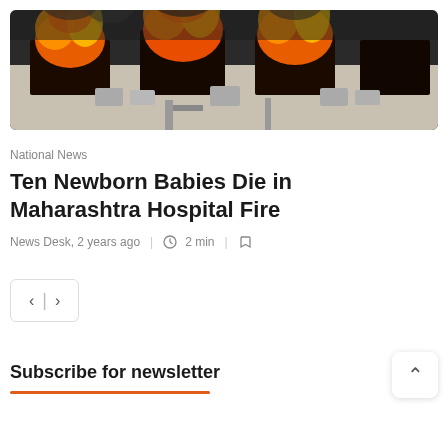[Figure (photo): Building on fire with flames and smoke coming out of windows, air conditioning units visible on the facade]
National News
Ten Newborn Babies Die in Maharashtra Hospital Fire
News Desk, 2 years ago | 2 min |
< | >
Subscribe for newsletter